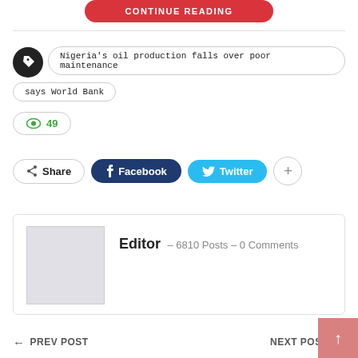CONTINUE READING
Nigeria's oil production falls over poor maintenance, says World Bank
49
Share  Facebook  Twitter  +
Editor – 6810 Posts – 0 Comments
← PREV POST    NEXT POST →